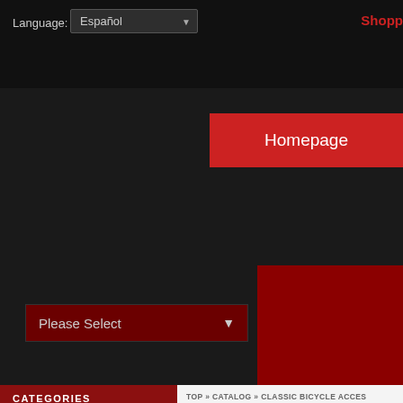Language: Español | Shopp
[Figure (screenshot): Homepage button - red rectangle with white text 'Homepage']
[Figure (screenshot): Please Select dropdown - dark red background with chevron arrow]
[Figure (screenshot): Red banner area on right side]
CATEGORIES
TOP » CATALOG » CLASSIC BICYCLE ACCES
Displaying 1 to 7 (of 7 products)
Flying Pigeon bicycles-> (12)
Leather saddles and toolbags-> (13)
Classic bicycle accessories-> (38)
LIGHTS AND REFLECTORS (6)